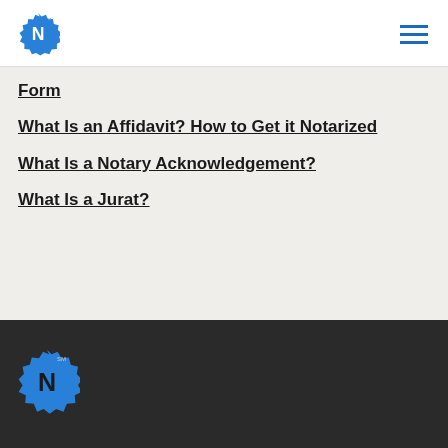Notary logo and hamburger menu
Form
What Is an Affidavit? How to Get it Notarized
What Is a Notary Acknowledgement?
What Is a Jurat?
Notary logo in dark footer